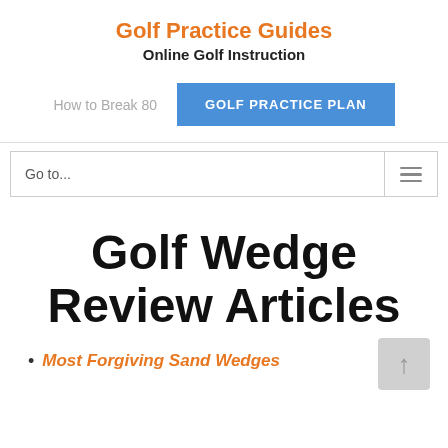Golf Practice Guides
Online Golf Instruction
How to Break 80   GOLF PRACTICE PLAN
Go to...
Golf Wedge Review Articles
Most Forgiving Sand Wedges